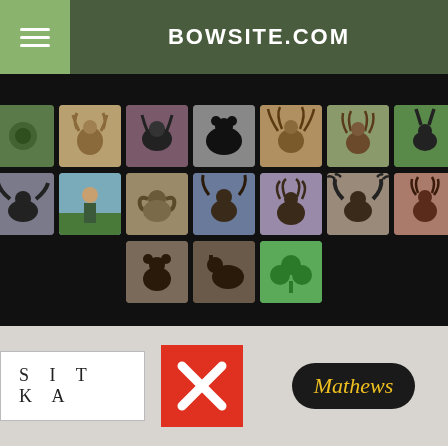BOWSITE.COM
[Figure (other): Navigation grid of hunting thumbnail images on black background - two rows of 7 images each showing various game animals (deer, elk, bear, turkey, moose, rabbit, etc.) and archery equipment, plus a third partial row of 3 images]
[Figure (logo): SITKA brand logo in white rectangular box with spaced black letters]
[Figure (logo): Red square with white X symbol - social media or brand logo]
[Figure (logo): Mathews archery brand logo - black oval with gold script text]
[Figure (photo): Photo of multiple camouflage electric fat-tire bikes loaded with gear and panniers parked in front of a camo tent in an outdoor hunting camp setting]